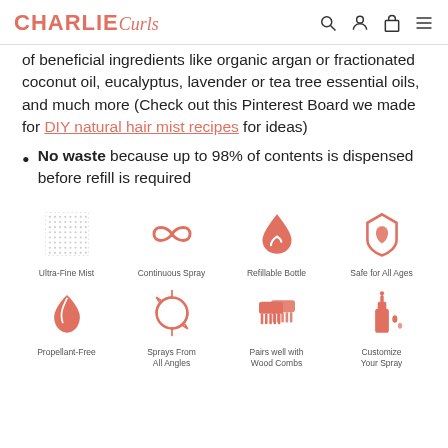CHARLIE Curls
of beneficial ingredients like organic argan or fractionated coconut oil, eucalyptus, lavender or tea tree essential oils, and much more (Check out this Pinterest Board we made for DIY natural hair mist recipes for ideas)
No waste because up to 98% of contents is dispensed before refill is required
[Figure (infographic): Eight product feature icons in two rows of four: Ultra-Fine Mist, Continuous Spray, Refillable Bottle, Safe for All Ages, Propellant-Free, Sprays From All Angles, Pairs well with Wood Combs, Customize Your Spray]